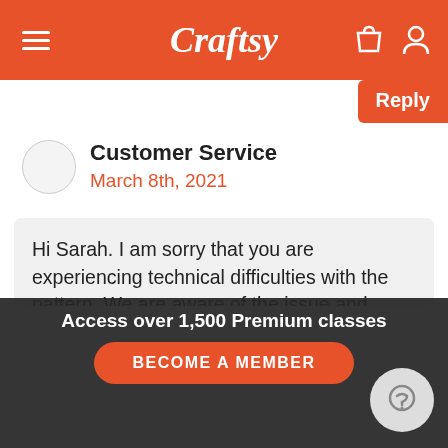Craftsy
Reply
Customer Service
March 8th, 2021
Hi Sarah. I am sorry that you are experiencing technical difficulties with the pattern. We are aware of the issue and working on a resolution to get this resolved as quickly as possible. We are uploading new content every day!

Once the pattern that you are looking for is uploaded there will be a button just below the description that says "Download Pattern". I apologize for the inconvenience.

Craftsy
Jean
Access over 1,500 Premium classes
BECOME A MEMBER